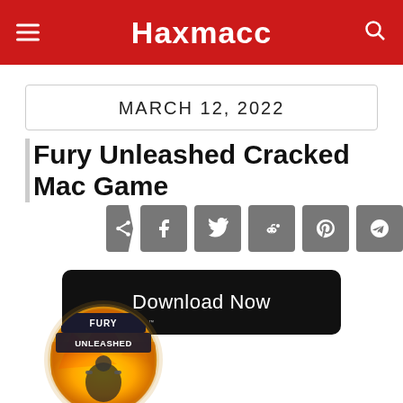Haxmacc
MARCH 12, 2022
Fury Unleashed Cracked Mac Game
[Figure (infographic): Social share buttons: share arrow, Facebook, Twitter, Reddit, Pinterest, Telegram, WhatsApp]
[Figure (other): Black Download Now button]
[Figure (illustration): Fury Unleashed game logo — circular badge with 'FURY UNLEASHED' text, character with guns, explosions on yellow/orange background]